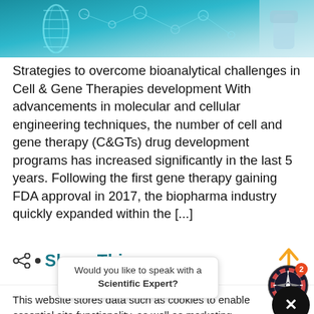[Figure (photo): Hero banner image showing DNA helix, molecular/biotech visuals with teal/blue tones and a laboratory glove in the top right corner]
Strategies to overcome bioanalytical challenges in Cell & Gene Therapies development With advancements in molecular and cellular engineering techniques, the number of cell and gene therapy (C&GTs) drug development programs has increased significantly in the last 5 years. Following the first gene therapy gaining FDA approval in 2017, the biopharma industry quickly expanded within the [...]
Share This
This website stores data such as cookies to enable essential site functionality, as well as marketing, personalization, and analytics. By remaining on this website you indicate your consent. Data Storage P...
Would you like to speak with a Scientific Expert?